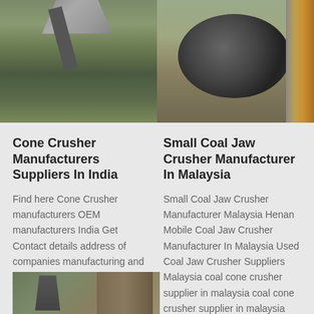[Figure (photo): Left: outdoor photo of a cone crusher / mining equipment with gravel pile and conveyor structure. Right: indoor photo of a large industrial electric motor or crusher machine.]
Cone Crusher Manufacturers Suppliers In India
Find here Cone Crusher manufacturers OEM manufacturers India Get Contact details address of companies manufacturing and supplying Cone Crusher across India IndiaMART Get Best Price Help Find answers to your queries The design of spring cone crushers structure is
Small Coal Jaw Crusher Manufacturer In Malaysia
Small Coal Jaw Crusher Manufacturer Malaysia Henan Mobile Coal Jaw Crusher Manufacturer In Malaysia Used Coal Jaw Crusher Suppliers Malaysia coal cone crusher supplier in malaysia coal cone crusher supplier in malaysia iron ore crusher supplieryoutube feb 15 2016 2 days ago used gold ore cone
[Figure (photo): Bottom partial photo showing outdoor mining/crushing equipment in a forested area.]